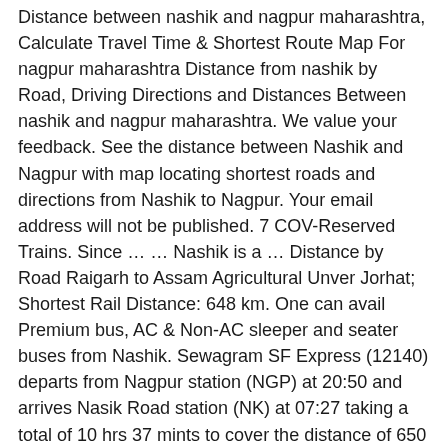Distance between nashik and nagpur maharashtra, Calculate Travel Time & Shortest Route Map For nagpur maharashtra Distance from nashik by Road, Driving Directions and Distances Between nashik and nagpur maharashtra. We value your feedback. See the distance between Nashik and Nagpur with map locating shortest roads and directions from Nashik to Nagpur. Your email address will not be published. 7 COV-Reserved Trains. Since … … Nashik is a … Distance by Road Raigarh to Assam Agricultural Unver Jorhat; Shortest Rail Distance: 648 km. One can avail Premium bus, AC & Non-AC sleeper and seater buses from Nashik. Sewagram SF Express (12140) departs from Nagpur station (NGP) at 20:50 and arrives Nasik Road station (NK) at 07:27 taking a total of 10 hrs 37 mints to cover the distance of 650 kms. A political and commercial center of the state, Nagpur has been of high significance when taking the political aspects. This functionality provides specific road driving map displaying route from Nashik City to Nagpur Maharashtra for any given city/town within the region of India. We recommend you have the Nashik City to Nagpur Maharashtra road-route to travel by, so that